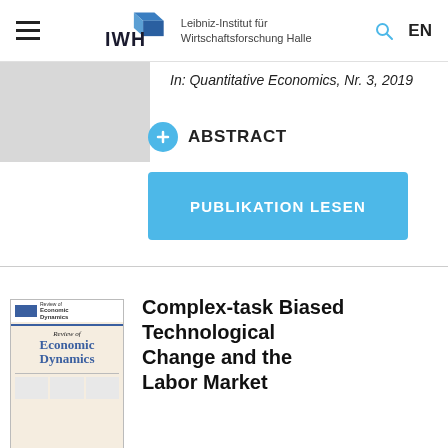IWH – Leibniz-Institut für Wirtschaftsforschung Halle | EN
In: Quantitative Economics, Nr. 3, 2019
ABSTRACT
PUBLIKATION LESEN
Complex-task Biased Technological Change and the Labor Market